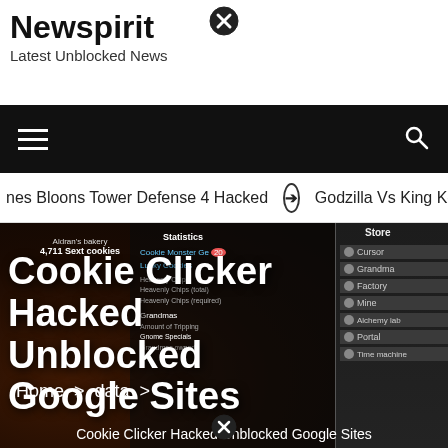Newspirit
Latest Unblocked News
[Figure (screenshot): Navigation bar with hamburger menu icon on left and search icon on right, black background]
nes Bloons Tower Defense 4 Hacked  ➡  Godzilla Vs King Ko
[Figure (screenshot): Cookie Clicker game screenshot showing bakery stats, cookie, store with Cursor, Grandma, Factory, Mine, Alchemy lab, Portal, Time machine items]
Cookie Clicker Hacked Unblocked Google Sites
Home > data > Cookie Clicker Hacked Unblocked Google Sites